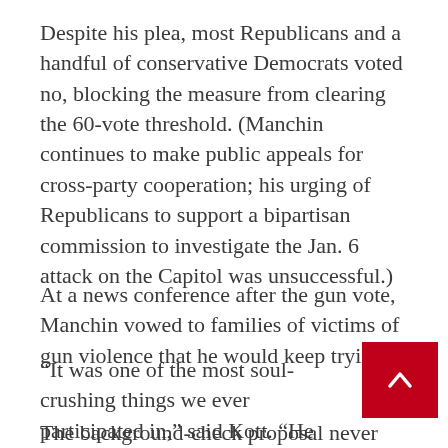Despite his plea, most Republicans and a handful of conservative Democrats voted no, blocking the measure from clearing the 60-vote threshold. (Manchin continues to make public appeals for cross-party cooperation; his urging of Republicans to support a bipartisan commission to investigate the Jan. 6 attack on the Capitol was unsuccessful.)
At a news conference after the gun vote, Manchin vowed to families of victims of gun violence that he would keep trying.
“It was one of the most soul-crushing things we ever participated in,” said Kott. “He walked back to the office and said, ‘How do we get five more?’ He went from losing this vote to, within an hour, saying, ‘OK, who else ca… talk to?’”
The background-check proposal never regained